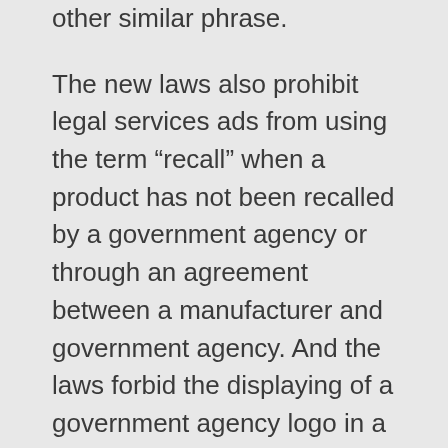other similar phrase.
The new laws also prohibit legal services ads from using the term “recall” when a product has not been recalled by a government agency or through an agreement between a manufacturer and government agency. And the laws forbid the displaying of a government agency logo in a manner that suggests an affiliation with the agency. These provisions apply to lawsuit ads targeting any products that are regulated by federal or state agencies (e.g., consumer products and automobiles), not just prescription drugs and medical devices.
When a lawsuit ad involves a prescription drug, both laws require that ad to warn viewers not to stop taking the medication without first consulting a physician. In addition, the Tennessee law requires